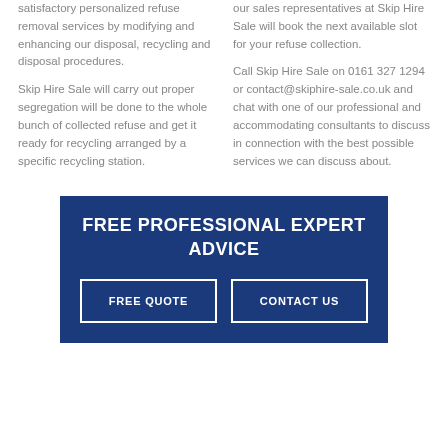satisfactory personalized refuse removal services by modifying and enhancing our disposal, recycling and disposal procedures.
our sales representatives at Skip Hire Sale will book the next available slot for your refuse collection.
Skip Hire Sale will carry out proper segregation will be done to the whole bunch of collected refuse and get it ready for recycling arranged by a specific recycling station.
Call Skip Hire Sale on 0161 327 1294 or contact@skiphire-sale.co.uk and chat with one of our professional and accommodating consultants to discuss in connection with the best possible services we can discuss about.
FREE PROFESSIONAL EXPERT ADVICE
FREE QUOTE
CONTACT US